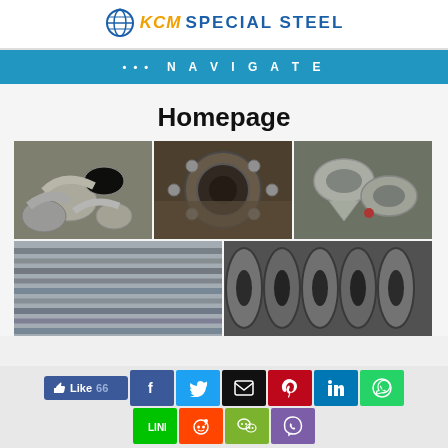KCM SPECIAL STEEL logo
••• NAVIGATE
Homepage
[Figure (photo): Six photos of steel pipe fittings, flanges, elbow joints, and steel tubes arranged in a 3x2 grid]
[Figure (infographic): Social sharing buttons: Like 66 (Facebook), Facebook, Twitter, Email, Pinterest, LinkedIn, WhatsApp, Line, Reddit, WeChat, Viber]